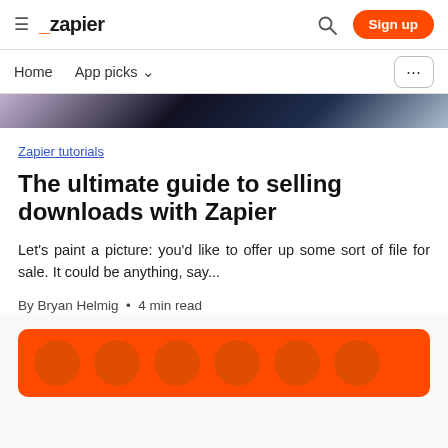≡ _zapier  🔍  Sign up
Home  App picks ∨  ...
[Figure (photo): Dark hero image banner strip at top of article]
Zapier tutorials
The ultimate guide to selling downloads with Zapier
Let's paint a picture: you'd like to offer up some sort of file for sale. It could be anything, say...
By Bryan Helmig • 4 min read
[Figure (photo): Orange background image at the bottom of the page]